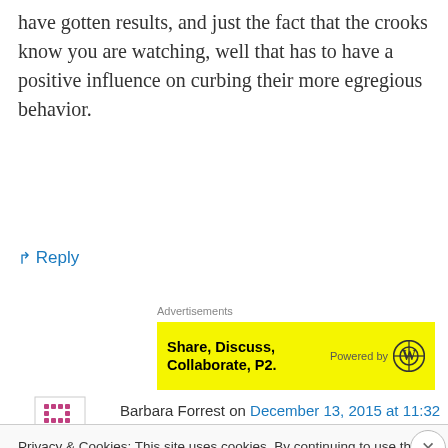have gotten results, and just the fact that the crooks know you are watching, well that has to have a positive influence on curbing their more egregious behavior.
↳ Reply
Advertisements
[Figure (infographic): Yellow advertisement banner: 'Share, Discuss, Collaborate, P2.' Powered by WordPress logo]
Barbara Forrest on December 13, 2015 at 11:32 am
Privacy & Cookies: This site uses cookies. By continuing to use this website, you agree to their use.
To find out more, including how to control cookies, see here: Cookie Policy
Close and accept